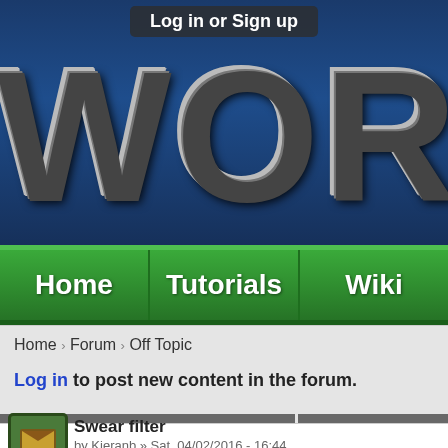Log in or Sign up
[Figure (screenshot): World of Minecraft-style website banner with large text 'WORLD O' partially visible on dark blue background]
WORLD O
Home   Tutorials   Wiki
Home › Forum › Off Topic
Log in to post new content in the forum.
| Topic / Topic starter | Replies |
| --- | --- |
| Swear filter by Kieranb » Sat, 04/02/2016 - 16:44 |  |
| FOR XAN |  |
Swear filter by Kieranb » Sat, 04/02/2016 - 16:44